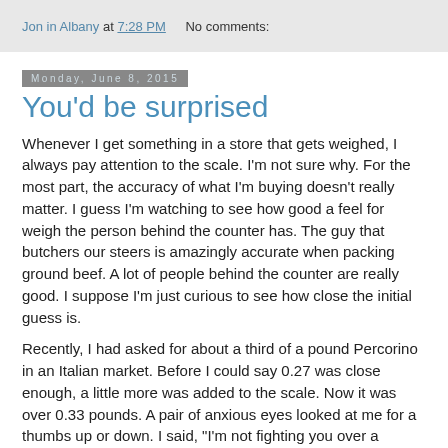Jon in Albany at 7:28 PM   No comments:
Monday, June 8, 2015
You'd be surprised
Whenever I get something in a store that gets weighed, I always pay attention to the scale. I'm not sure why. For the most part, the accuracy of what I'm buying doesn't really matter. I guess I'm watching to see how good a feel for weigh the person behind the counter has. The guy that butchers our steers is amazingly accurate when packing ground beef. A lot of people behind the counter are really good. I suppose I'm just curious to see how close the initial guess is.
Recently, I had asked for about a third of a pound Percorino in an Italian market. Before I could say 0.27 was close enough, a little more was added to the scale. Now it was over 0.33 pounds. A pair of anxious eyes looked at me for a thumbs up or down. I said, "I'm not fighting you over a couple